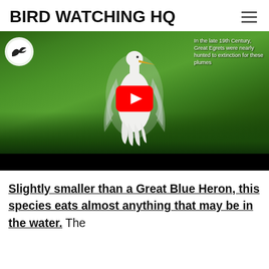BIRD WATCHING HQ
[Figure (screenshot): YouTube video thumbnail showing a white Great Egret bird with outstretched plume feathers in green foliage, with a red YouTube play button in the center. Overlay text reads: 'In the late 19th Century, Great Egrets were nearly hunted to extinction for these plumes'. A bird logo appears in the top-left corner of the video.]
Slightly smaller than a Great Blue Heron, this species eats almost anything that may be in the water. The